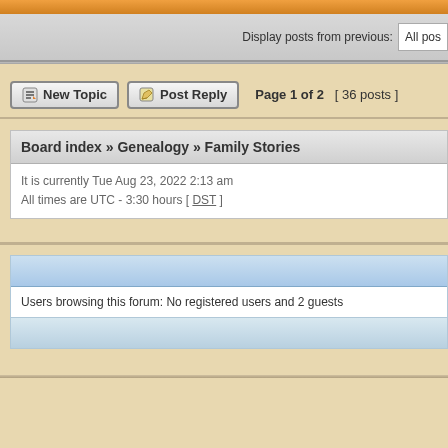Display posts from previous: All posts
New Topic  Post Reply  Page 1 of 2  [ 36 posts ]
Board index » Genealogy » Family Stories
It is currently Tue Aug 23, 2022 2:13 am
All times are UTC - 3:30 hours [ DST ]
Users browsing this forum: No registered users and 2 guests